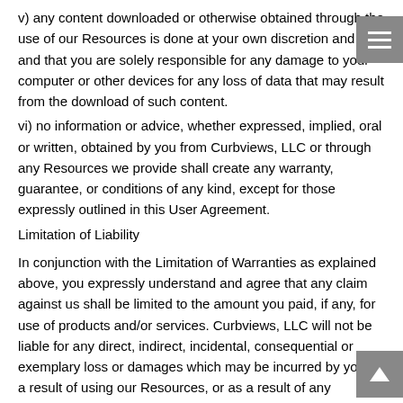v) any content downloaded or otherwise obtained through the use of our Resources is done at your own discretion and risk, and that you are solely responsible for any damage to your computer or other devices for any loss of data that may result from the download of such content.
vi) no information or advice, whether expressed, implied, oral or written, obtained by you from Curbviews, LLC or through any Resources we provide shall create any warranty, guarantee, or conditions of any kind, except for those expressly outlined in this User Agreement.
Limitation of Liability
In conjunction with the Limitation of Warranties as explained above, you expressly understand and agree that any claim against us shall be limited to the amount you paid, if any, for use of products and/or services. Curbviews, LLC will not be liable for any direct, indirect, incidental, consequential or exemplary loss or damages which may be incurred by you as a result of using our Resources, or as a result of any changes to our